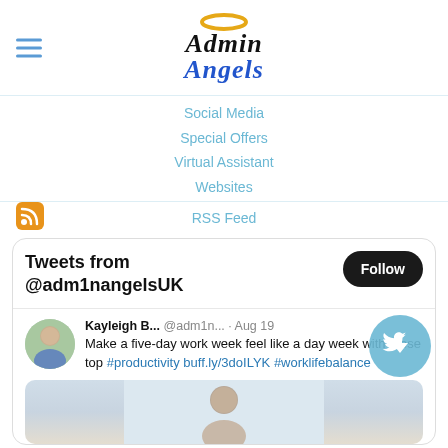[Figure (logo): Admin Angels logo with halo graphic, italic serif font, 'Admin' in black and 'Angels' in blue]
Social Media
Special Offers
Virtual Assistant
Websites
RSS Feed
[Figure (screenshot): Embedded Twitter widget showing tweets from @adm1nangelsUK with a Follow button. Tweet by Kayleigh B... @adm1n... Aug 19: Make a five-day work week feel like a day week with these top #productivity buff.ly/3doILYK #worklifebalance]